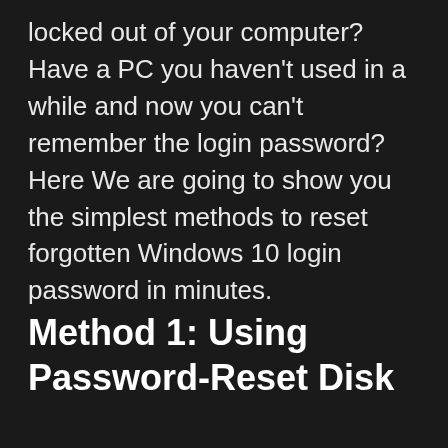locked out of your computer? Have a PC you haven't used in a while and now you can't remember the login password?  Here We are going to show you the simplest methods to reset forgotten Windows 10 login password in minutes.
Method 1: Using Password-Reset Disk